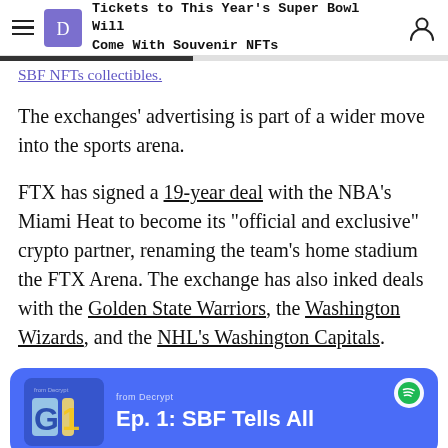Tickets to This Year's Super Bowl Will Come With Souvenir NFTs
SBF NFTs collectibles.
The exchanges' advertising is part of a wider move into the sports arena.
FTX has signed a 19-year deal with the NBA's Miami Heat to become its "official and exclusive" crypto partner, renaming the team's home stadium the FTX Arena. The exchange has also inked deals with the Golden State Warriors, the Washington Wizards, and the NHL's Washington Capitals.
[Figure (other): Spotify podcast card for 'Ep. 1: SBF Tells All' from Decrypt, shown on a blue background with a Spotify logo icon and stylized graphic on the left.]